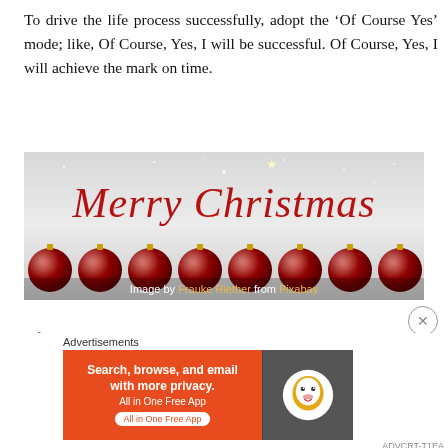To drive the life process successfully, adopt the ‘Of Course Yes’ mode; like, Of Course, Yes, I will be successful. Of Course, Yes, I will achieve the mark on time.
[Figure (photo): Merry Christmas image with red ornament balls and decorative script text 'Merry Christmas' on a glittery silver background. Caption reads: Image by Frauke Riether from Pixabay]
Of Course, Yes, I have shared a new concept
Advertisements
[Figure (other): DuckDuckGo advertisement banner: Search, browse, and email with more privacy. All in One Free App.]